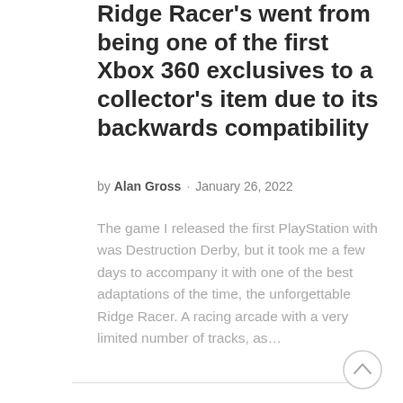Ridge Racer's went from being one of the first Xbox 360 exclusives to a collector's item due to its backwards compatibility
by Alan Gross   January 26, 2022
The game I released the first PlayStation with was Destruction Derby, but it took me a few days to accompany it with one of the best adaptations of the time, the unforgettable Ridge Racer. A racing arcade with a very limited number of tracks, as...